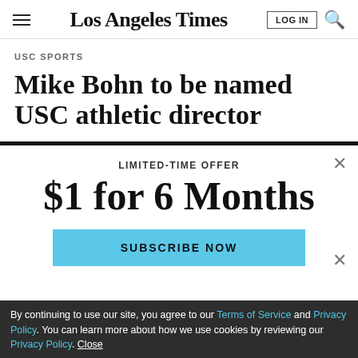Los Angeles Times
USC SPORTS
Mike Bohn to be named USC athletic director
LIMITED-TIME OFFER
$1 for 6 Months
SUBSCRIBE NOW
By continuing to use our site, you agree to our Terms of Service and Privacy Policy. You can learn more about how we use cookies by reviewing our Privacy Policy. Close